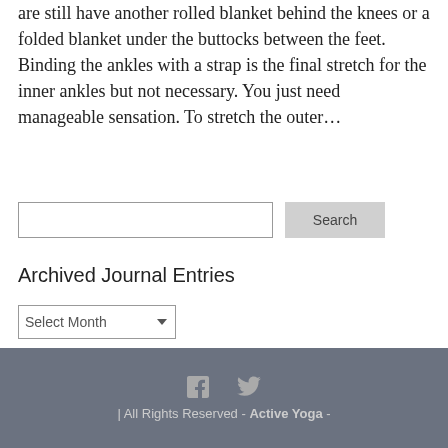are still have another rolled blanket behind the knees or a folded blanket under the buttocks between the feet. Binding the ankles with a strap is the final stretch for the inner ankles but not necessary. You just need manageable sensation. To stretch the outer…
[Figure (screenshot): Search input box and Search button]
Archived Journal Entries
[Figure (screenshot): Select Month dropdown]
| All Rights Reserved - Active Yoga -